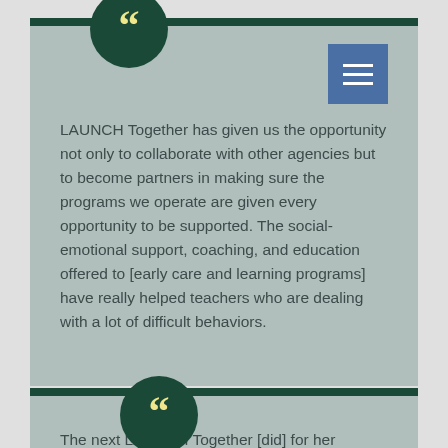LAUNCH Together has given us the opportunity not only to collaborate with other agencies but to become partners in making sure the programs we operate are given every opportunity to be supported. The social-emotional support, coaching, and education offered to [early care and learning programs] have really helped teachers who are dealing with a lot of difficult behaviors.
The next LAUNCH Together [did] for her organization...